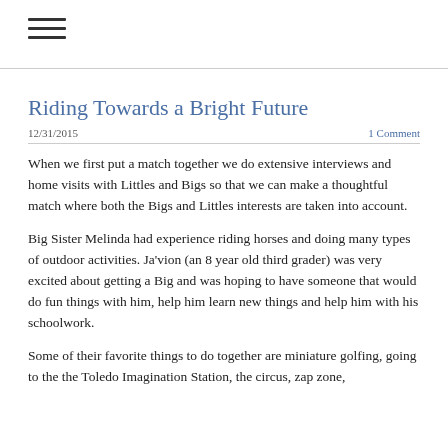☰ (hamburger menu icon)
Riding Towards a Bright Future
12/31/2015    1 Comment
When we first put a match together we do extensive interviews and home visits with Littles and Bigs so that we can make a thoughtful match where both the Bigs and Littles interests are taken into account.
Big Sister Melinda had experience riding horses and doing many types of outdoor activities. Ja'vion (an 8 year old third grader) was very excited about getting a Big and was hoping to have someone that would do fun things with him, help him learn new things and help him with his schoolwork.
Some of their favorite things to do together are miniature golfing, going to the the Toledo Imagination Station, the circus, zap zone,